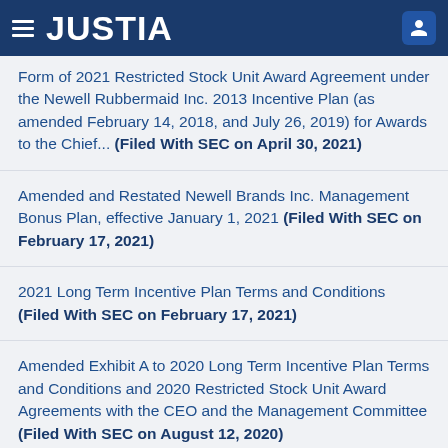JUSTIA
Form of 2021 Restricted Stock Unit Award Agreement under the Newell Rubbermaid Inc. 2013 Incentive Plan (as amended February 14, 2018, and July 26, 2019) for Awards to the Chief... (Filed With SEC on April 30, 2021)
Amended and Restated Newell Brands Inc. Management Bonus Plan, effective January 1, 2021 (Filed With SEC on February 17, 2021)
2021 Long Term Incentive Plan Terms and Conditions (Filed With SEC on February 17, 2021)
Amended Exhibit A to 2020 Long Term Incentive Plan Terms and Conditions and 2020 Restricted Stock Unit Award Agreements with the CEO and the Management Committee (Filed With SEC on August 12, 2020)